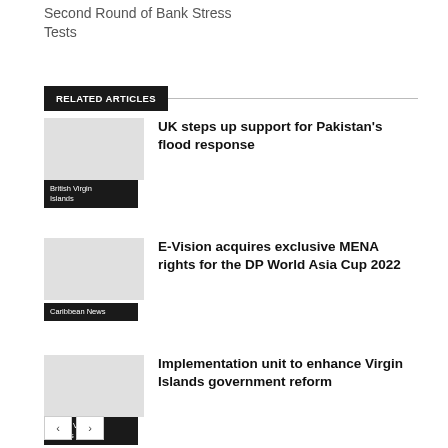Second Round of Bank Stress Tests
RELATED ARTICLES
UK steps up support for Pakistan's flood response
British Virgin Islands
E-Vision acquires exclusive MENA rights for the DP World Asia Cup 2022
Caribbean News
Implementation unit to enhance Virgin Islands government reform
British Virgin Islands